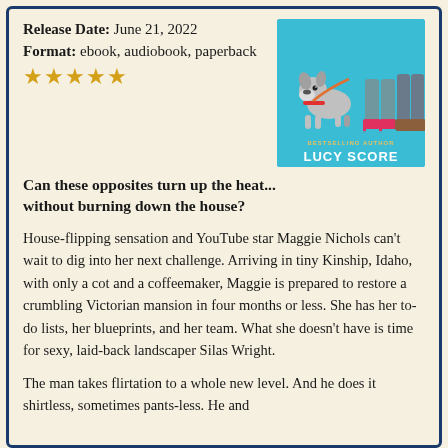Release Date: June 21, 2022
Format: ebook, audiobook, paperback
[Figure (illustration): Book cover illustration for a Lucy Score novel, showing cartoon dog, stylish woman's legs in heels, and man's legs with boots on a blue background, with text 'BESTSELLING AUTHOR LUCY SCORE']
★★★★★
Can these opposites turn up the heat... without burning down the house?
House-flipping sensation and YouTube star Maggie Nichols can't wait to dig into her next challenge. Arriving in tiny Kinship, Idaho, with only a cot and a coffeemaker, Maggie is prepared to restore a crumbling Victorian mansion in four months or less. She has her to-do lists, her blueprints, and her team. What she doesn't have is time for sexy, laid-back landscaper Silas Wright.
The man takes flirtation to a whole new level. And he does it shirtless, sometimes pants-less. He and